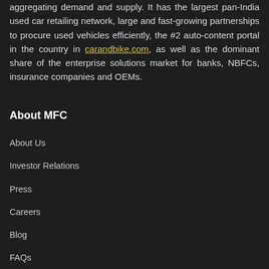aggregating demand and supply. It has the largest pan-India used car retailing network, large and fast-growing partnerships to procure used vehicles efficiently, the #2 auto-content portal in the country in carandbike.com, as well as the dominant share of the enterprise solutions market for banks, NBFCs, insurance companies and OEMs.
About MFC
About Us
Investor Relations
Press
Careers
Blog
FAQs